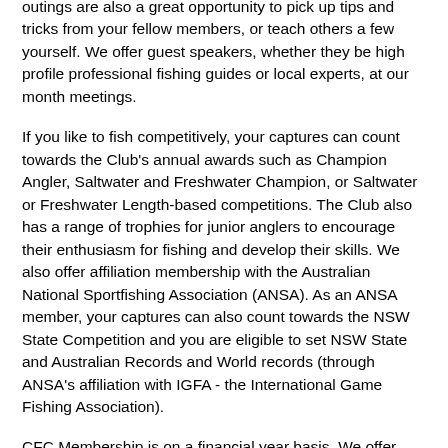outings are also a great opportunity to pick up tips and tricks from your fellow members, or teach others a few yourself. We offer guest speakers, whether they be high profile professional fishing guides or local experts, at our month meetings.
If you like to fish competitively, your captures can count towards the Club's annual awards such as Champion Angler, Saltwater and Freshwater Champion, or Saltwater or Freshwater Length-based competitions. The Club also has a range of trophies for junior anglers to encourage their enthusiasm for fishing and develop their skills. We also offer affiliation membership with the Australian National Sportfishing Association (ANSA). As an ANSA member, your captures can also count towards the NSW State Competition and you are eligible to set NSW State and Australian Records and World records (through ANSA's affiliation with IGFA - the International Game Fishing Association).
CFC Membership is on a financial year basis. We offer half-